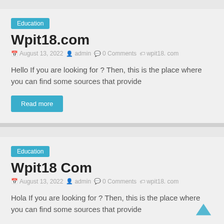Education
Wpit18.com
August 13, 2022  admin  0 Comments  wpit18. com
Hello If you are looking for ? Then, this is the place where you can find some sources that provide
Read more
Education
Wpit18 Com
August 13, 2022  admin  0 Comments  wpit18. com
Hola If you are looking for ? Then, this is the place where you can find some sources that provide